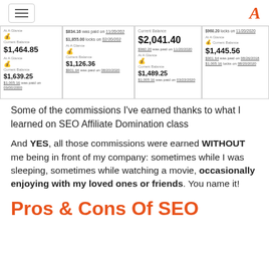Navigation menu and logo
[Figure (screenshot): Screenshots of affiliate commission dashboards showing balances: $1,464.85, $1,639.25, $834.16 paid on 11/20/2020, $1,855.00 locks on 02/20/2020, $1,126.36, $2,041.40, $960.20, $1,489.25, $960.20 paid on 11/20/2020, $1,445.56, $901.64 paid, $1,005.16 locks]
Some of the commissions I've earned thanks to what I learned on SEO Affiliate Domination class
And YES, all those commissions were earned WITHOUT me being in front of my company: sometimes while I was sleeping, sometimes while watching a movie, occasionally enjoying with my loved ones or friends. You name it!
Pros & Cons Of SEO